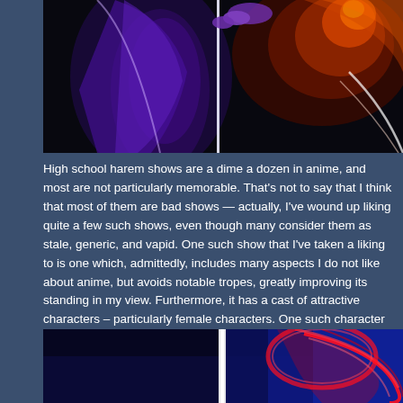[Figure (photo): Dark anime-style illustration with neon lighting showing purple and red/orange glowing figure against black background]
High school harem shows are a dime a dozen in anime, and most are not particularly memorable. That's not to say that I think that most of them are bad shows — actually, I've wound up liking quite a few such shows, even though many consider them as stale, generic, and vapid. One such show that I've taken a liking to is one which, admittedly, includes many aspects I do not like about anime, but avoids notable tropes, greatly improving its standing in my view. Furthermore, it has a cast of attractive characters – particularly female characters. One such character is the lead girl, and that's who we are going to look at today.
[Figure (photo): Partial view of anime illustration with red neon circular shape and blue background]